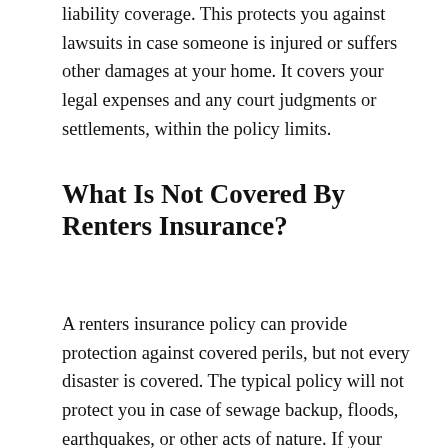liability coverage. This protects you against lawsuits in case someone is injured or suffers other damages at your home. It covers your legal expenses and any court judgments or settlements, within the policy limits.
What Is Not Covered By Renters Insurance?
A renters insurance policy can provide protection against covered perils, but not every disaster is covered. The typical policy will not protect you in case of sewage backup, floods, earthquakes, or other acts of nature. If your possessions include high-end items, such as fine jewelry, antiques, art collections, or expensive instruments or equipment, you may want to